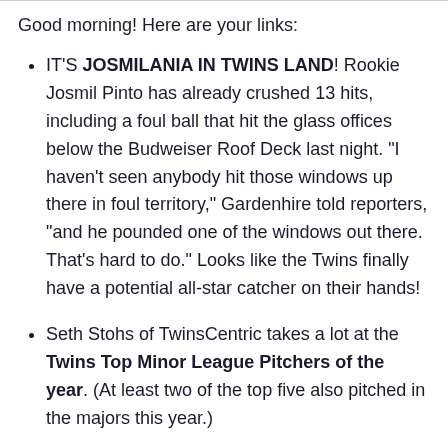Good morning! Here are your links:
IT'S JOSMILANIA IN TWINS LAND! Rookie Josmil Pinto has already crushed 13 hits, including a foul ball that hit the glass offices below the Budweiser Roof Deck last night. "I haven't seen anybody hit those windows up there in foul territory," Gardenhire told reporters, "and he pounded one of the windows out there. That's hard to do." Looks like the Twins finally have a potential all-star catcher on their hands!
Seth Stohs of TwinsCentric takes a lot at the Twins Top Minor League Pitchers of the year. (At least two of the top five also pitched in the majors this year.)